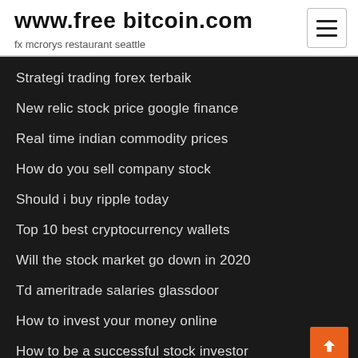www.free bitcoin.com
fx mcrorys restaurant seattle
Strategi trading forex terbaik
New relic stock price google finance
Real time indian commodity prices
How do you sell company stock
Should i buy ripple today
Top 10 best cryptocurrency wallets
Will the stock market go down in 2020
Td ameritrade salaries glassdoor
How to invest your money online
How to be a successful stock investor